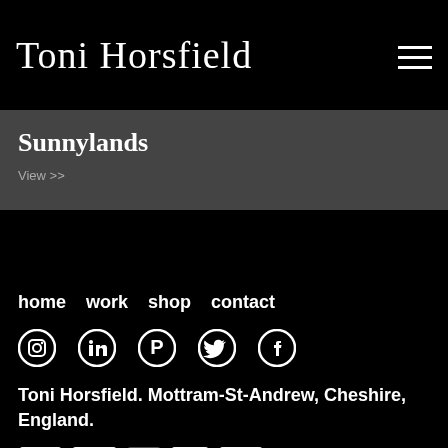Toni Horsfield
Sunnylands
View >>
home
work
shop
contact
[Figure (infographic): Social media icons: Instagram, LinkedIn, Pinterest, Twitter, Facebook]
Toni Horsfield. Mottram-St-Andrew, Cheshire, England.
[Figure (infographic): Payment method icons: Apple Pay, PayPal, American Express, Mastercard, VISA]